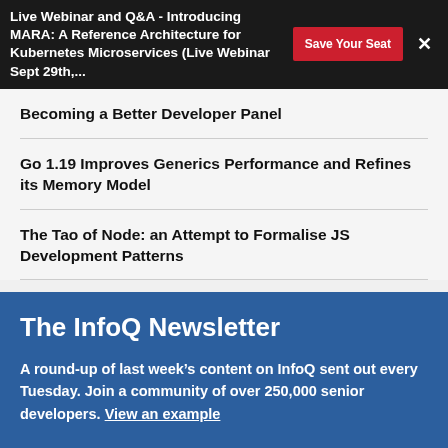Live Webinar and Q&A - Introducing MARA: A Reference Architecture for Kubernetes Microservices (Live Webinar Sept 29th,...
Becoming a Better Developer Panel
Go 1.19 Improves Generics Performance and Refines its Memory Model
The Tao of Node: an Attempt to Formalise JS Development Patterns
The InfoQ Newsletter
A round-up of last week’s content on InfoQ sent out every Tuesday. Join a community of over 250,000 senior developers. View an example